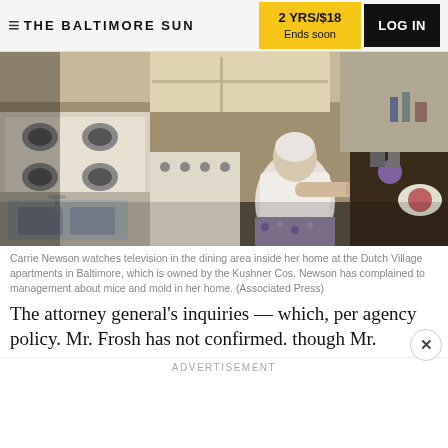THE BALTIMORE SUN | 2 YRS/$18 Ends soon | LOG IN
[Figure (photo): An elderly woman with white hair sits in a kitchen/dining area, watching television. A gas stove and sink are visible on the left side. The kitchen has dark countertops.]
Carrie Newson watches television in the dining area inside her home at the Dutch Village apartments in Baltimore, which is owned by the Kushner Cos. Newson has complained to management about mice and mold in her home. (Associated Press)
The attorney general’s inquiries — which, per agency policy. Mr. Frosh has not confirmed. though Mr.
ADVERTISEMENT